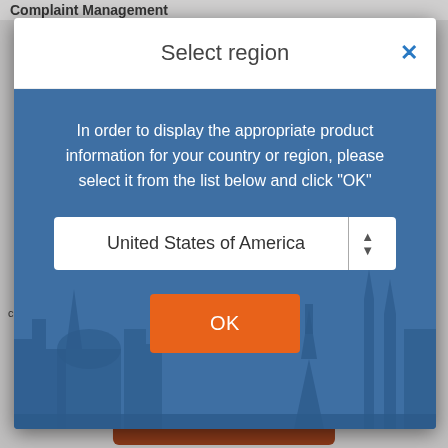Complaint Management
[Figure (screenshot): Select region modal dialog with blue background, city skyline silhouette, dropdown showing 'United States of America', and an orange OK button]
compare more easily what return they can expect from their savings over time.
0.01 % p.a.  1 year | EUR  EURAM BANK
Invest now